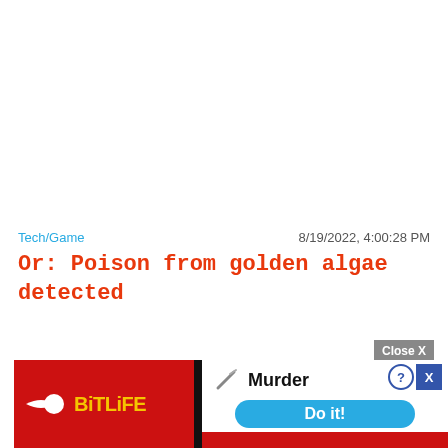Tech/Game
8/19/2022, 4:00:28 PM
Or: Poison from golden algae detected
[Figure (screenshot): Mobile game advertisement for BitLife showing a red banner with the BitLife logo (sperm icon and yellow/white text), a 'Murder' option with knife icon, info and close buttons, a blue 'Do it!' button, and a grey 'Close X' button above the banner.]